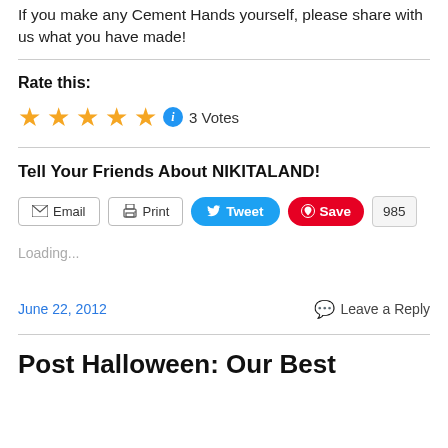If you make any Cement Hands yourself, please share with us what you have made!
Rate this:
[Figure (other): Five gold stars rating widget with info icon, showing 3 Votes]
Tell Your Friends About NIKITALAND!
[Figure (other): Social sharing buttons: Email, Print, Tweet, Save (985)]
Loading...
June 22, 2012
Leave a Reply
Post Halloween: Our Best